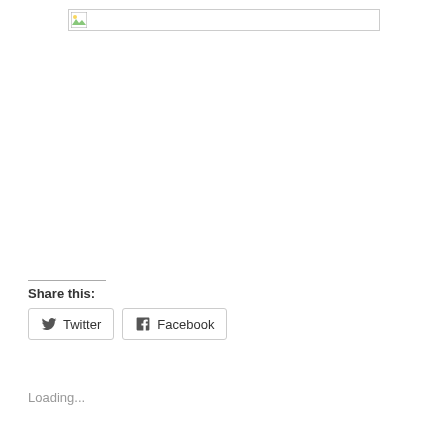[Figure (other): Broken image placeholder box with small image icon on left and grey border]
Share this:
Twitter
Facebook
Loading...